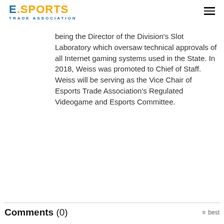E.SPORTS TRADE ASSOCIATION
being the Director of the Division's Slot Laboratory which oversaw technical approvals of all Internet gaming systems used in the State. In 2018, Weiss was promoted to Chief of Staff. Weiss will be serving as the Vice Chair of Esports Trade Association's Regulated Videogame and Esports Committee.
Comments (0)